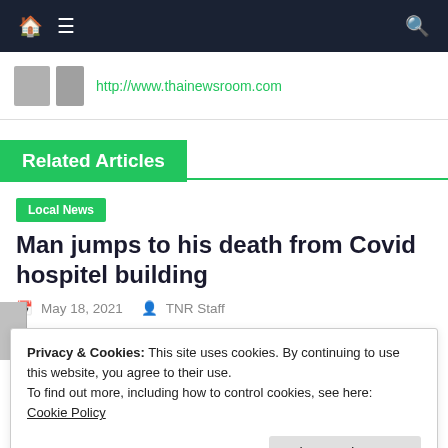🏠 ☰ 🔍 navigation bar
http://www.thainewsroom.com
Related Articles
Local News
Man jumps to his death from Covid hospitel building
May 18, 2021   TNR Staff
Privacy & Cookies: This site uses cookies. By continuing to use this website, you agree to their use.
To find out more, including how to control cookies, see here:
Cookie Policy
Close and accept